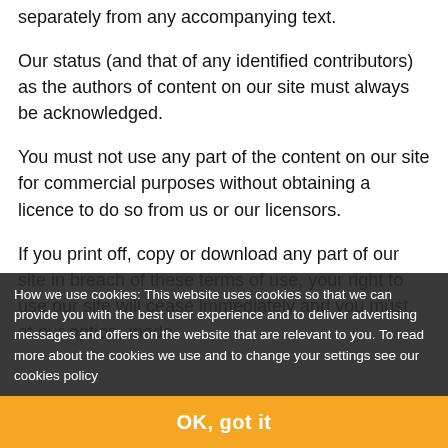separately from any accompanying text.
Our status (and that of any identified contributors) as the authors of content on our site must always be acknowledged.
You must not use any part of the content on our site for commercial purposes without obtaining a licence to do so from us or our licensors.
If you print off, copy or download any part of our site in breach of these terms of use, your right to use our site will cease immediately and you must, at our option, made.
How we use cookies: This website uses cookies so that we can provide you with the best user experience and to deliver advertising messages and offers on the website that are relevant to you. To read more about the cookies we use and to change your settings see our cookies policy
OK, got it